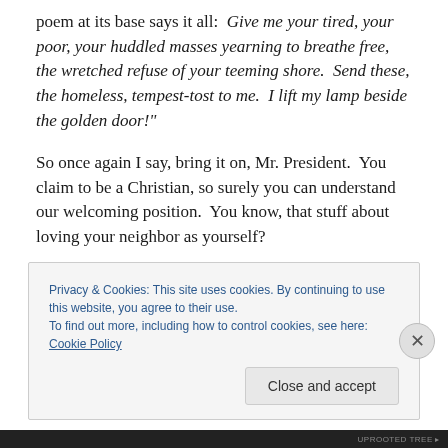poem at its base says it all:  Give me your tired, your poor, your huddled masses yearning to breathe free, the wretched refuse of your teeming shore.  Send these, the homeless, tempest-tost to me.  I lift my lamp beside the golden door!"
So once again I say, bring it on, Mr. President.  You claim to be a Christian, so surely you can understand our welcoming position.  You know, that stuff about loving your neighbor as yourself?
The Easter and Passover season has arrived, reminding
Privacy & Cookies: This site uses cookies. By continuing to use this website, you agree to their use.
To find out more, including how to control cookies, see here: Cookie Policy